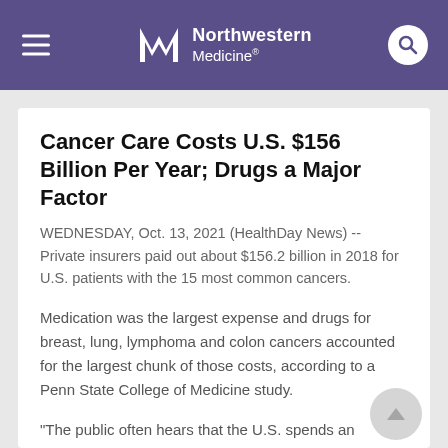Northwestern Medicine
Cancer Care Costs U.S. $156 Billion Per Year; Drugs a Major Factor
WEDNESDAY, Oct. 13, 2021 (HealthDay News) -- Private insurers paid out about $156.2 billion in 2018 for U.S. patients with the 15 most common cancers.
Medication was the largest expense and drugs for breast, lung, lymphoma and colon cancers accounted for the largest chunk of those costs, according to a Penn State College of Medicine study.
"The public often hears that the U.S. spends an